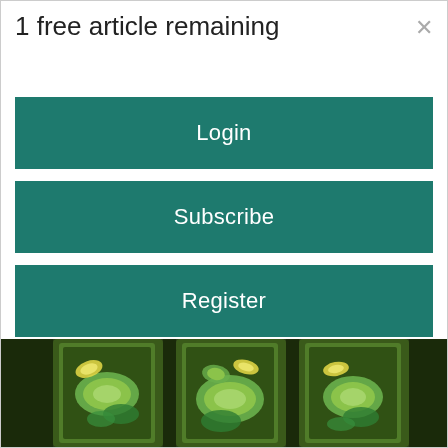1 free article remaining
Login
Subscribe
Register
You have 1 of your two free stories for the month. You may register to receive two more free stories this month and four stories each month going forward. By registering you'll be opting in to receive our email newsletter and occasional promotions. You may opt out at any time.
[Figure (photo): Three glass jars filled with cucumbers, lemon slices, and green vegetables/herbs in liquid, viewed from the front.]